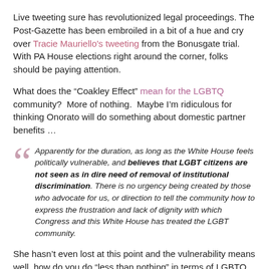Live tweeting sure has revolutionized legal proceedings. The Post-Gazette has been embroiled in a bit of a hue and cry over Tracie Mauriello's tweeting from the Bonusgate trial.  With PA House elections right around the corner, folks should be paying attention.
What does the “Coakley Effect” mean for the LGBTQ community?  More of nothing.  Maybe I’m ridiculous for thinking Onorato will do something about domestic partner benefits …
Apparently for the duration, as long as the White House feels politically vulnerable, and believes that LGBT citizens are not seen as in dire need of removal of institutional discrimination. There is no urgency being created by those who advocate for us, or direction to tell the community how to express the frustration and lack of dignity with which Congress and this White House has treated the LGBT community.
She hasn’t even lost at this point and the vulnerability means well, how do you do “less than nothing” in terms of LGBTQ civil rights?
Other stuff of interest
[link text cut off at bottom]